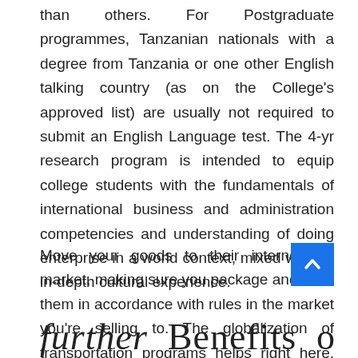than others. For Postgraduate programmes, Tanzanian nationals with a degree from Tanzania or one other English talking country (as on the College's approved list) are usually not required to submit an English Language test. The 4-yr research program is intended to equip college students with the fundamentals of international business and administration competencies and understanding of doing enterprise in a world context, mixed with an in-depth cultural experience.
Move your goods to their international market, making sure you package and label them in accordance with rules in the market you're selling to. The globalization of transportation programs helps right here, but rules are nonetheless totally different in all places you go.
[Figure (other): Blue scroll-to-top button with upward chevron arrow icon]
further Benefits of